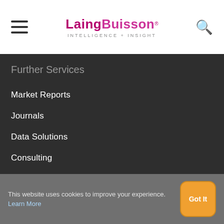LaingBuisson INTELLIGENCE + INSIGHT
Further Services
Market Reports
Journals
Data Solutions
Consulting
Events
Awards
Patient Acquisition
This website uses cookies to improve your experience. Learn More